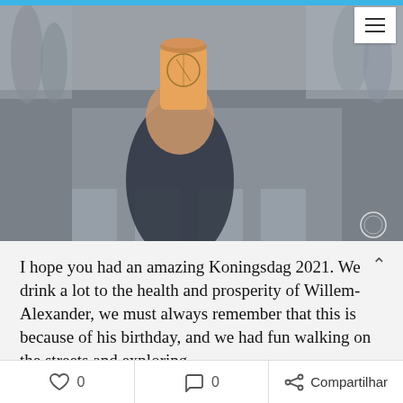[Figure (photo): A hand holding up an orange/amber drink cup with a branded logo, raised above a street crosswalk, crowd of people blurred in background. Top of a blog/website page with a hamburger menu icon in the top right corner.]
I hope you had an amazing Koningsdag 2021. We drink a lot to the health and prosperity of Willem-Alexander, we must always remember that this is because of his birthday, and we had fun walking on the streets and exploring.
I left you with some extra images of the
0   0   Compartilhar